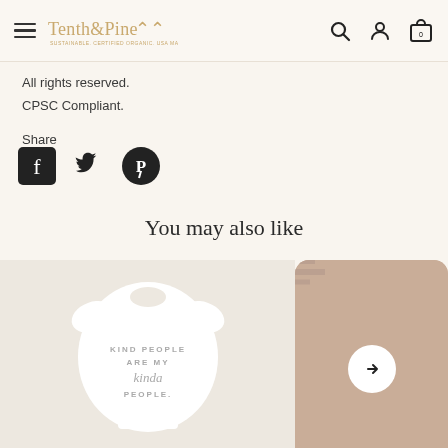Tenth & Pine — Sustainable, Certified Organic, USA Made
All rights reserved.
CPSC Compliant.
Share
[Figure (illustration): Social share icons: Facebook, Twitter, Pinterest]
You may also like
[Figure (photo): White baby onesie with 'KIND PEOPLE ARE MY kinda PEOPLE.' text printed on it]
[Figure (photo): Partial view of a product with tan/beige background and a circular arrow navigation button]